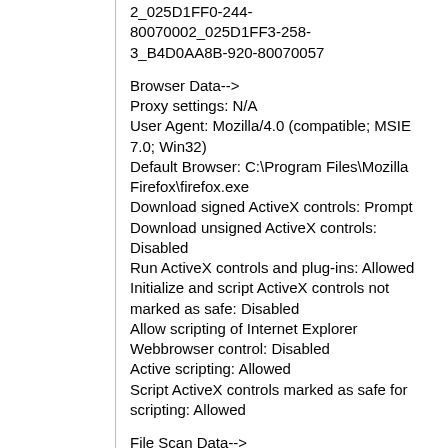2_025D1FF0-244-80070002_025D1FF3-258-3_B4D0AA8B-920-80070057
Browser Data-->
Proxy settings: N/A
User Agent: Mozilla/4.0 (compatible; MSIE 7.0; Win32)
Default Browser: C:\Program Files\Mozilla Firefox\firefox.exe
Download signed ActiveX controls: Prompt
Download unsigned ActiveX controls: Disabled
Run ActiveX controls and plug-ins: Allowed
Initialize and script ActiveX controls not marked as safe: Disabled
Allow scripting of Internet Explorer Webbrowser control: Disabled
Active scripting: Allowed
Script ActiveX controls marked as safe for scripting: Allowed
File Scan Data-->
Other data-->
Office Details: <GenuineResults>
<MachineData><UGUID>/CA61DB91-